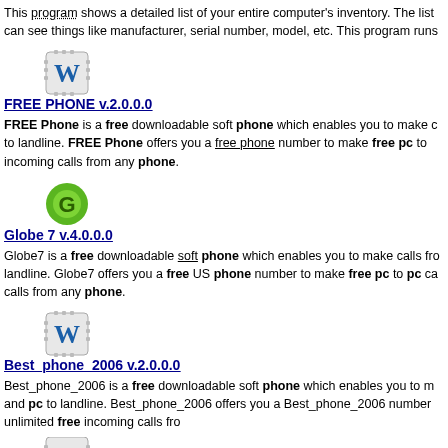This program shows a detailed list of your entire computer's inventory. The list can see things like manufacturer, serial number, model, etc. This program runs
[Figure (logo): W logo icon with gear border for FREE PHONE software]
FREE PHONE  v.2.0.0.0
FREE Phone is a free downloadable soft phone which enables you to make calls to landline. FREE Phone offers you a free phone number to make free pc to incoming calls from any phone.
[Figure (logo): Green Globe 7 application icon]
Globe 7  v.4.0.0.0
Globe7 is a free downloadable soft phone which enables you to make calls from landline. Globe7 offers you a free US phone number to make free pc to pc calls from any phone.
[Figure (logo): W logo icon with gear border for Best phone 2006 software]
Best_phone_2006  v.2.0.0.0
Best_phone_2006 is a free downloadable soft phone which enables you to make and pc to landline. Best_phone_2006 offers you a Best_phone_2006 number unlimited free incoming calls fro
[Figure (logo): W logo icon with gear border (partially visible at bottom)]